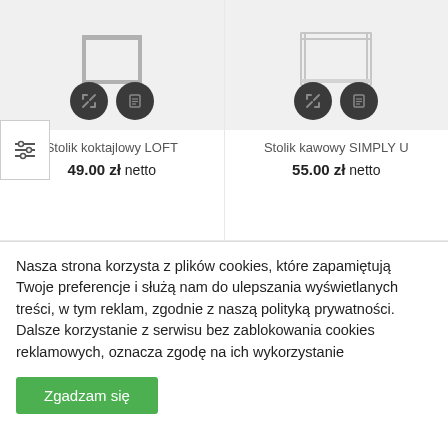[Figure (screenshot): Product card for Stolik koktajlowy LOFT showing furniture image with action icons, price 49.00 zł netto]
[Figure (screenshot): Product card for Stolik kawowy SIMPLY U showing furniture image with action icons, price 55.00 zł netto]
Nasza strona korzysta z plików cookies, które zapamiętują Twoje preferencje i służą nam do ulepszania wyświetlanych treści, w tym reklam, zgodnie z naszą polityką prywatności. Dalsze korzystanie z serwisu bez zablokowania cookies reklamowych, oznacza zgodę na ich wykorzystanie
Zgadzam się